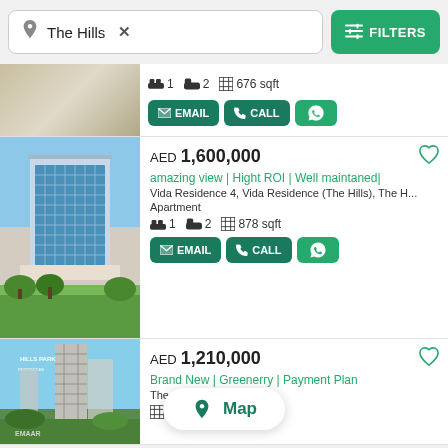The Hills × FILTERS
1 2 676 sqft — EMAIL CALL WhatsApp (partial card)
AED 1,600,000 — amazing view | Hight ROI | Well maintaned| — Vida Residence 4, Vida Residence (The Hills), The H... Apartment — 1 bed 2 bath 878 sqft — EMAIL CALL WhatsApp
AED 1,210,000 — Brand New | Greenerry | Payment Plan — The Hills, Dubai — 676 sqft